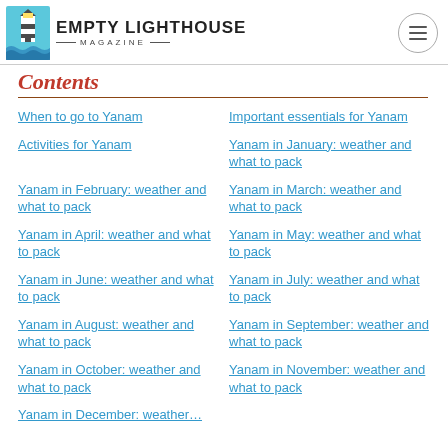Empty Lighthouse Magazine
Contents
When to go to Yanam
Important essentials for Yanam
Activities for Yanam
Yanam in January: weather and what to pack
Yanam in February: weather and what to pack
Yanam in March: weather and what to pack
Yanam in April: weather and what to pack
Yanam in May: weather and what to pack
Yanam in June: weather and what to pack
Yanam in July: weather and what to pack
Yanam in August: weather and what to pack
Yanam in September: weather and what to pack
Yanam in October: weather and what to pack
Yanam in November: weather and what to pack
Yanam in December: weather and what to pack